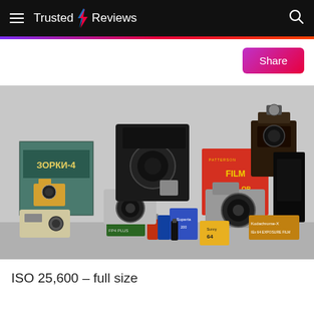Trusted Reviews
[Figure (photo): A collection of vintage film cameras, camera boxes (including a Zorki 4 box with Cyrillic text), a film developing tank box, Ilford film box, and various rolls of photographic film arranged on a white surface.]
ISO 25,600 – full size